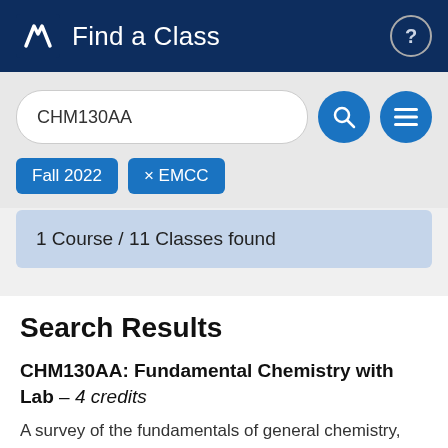Find a Class
CHM130AA
Fall 2022   × EMCC
1 Course / 11 Classes found
Search Results
CHM130AA: Fundamental Chemistry with Lab – 4 credits
A survey of the fundamentals of general chemistry,